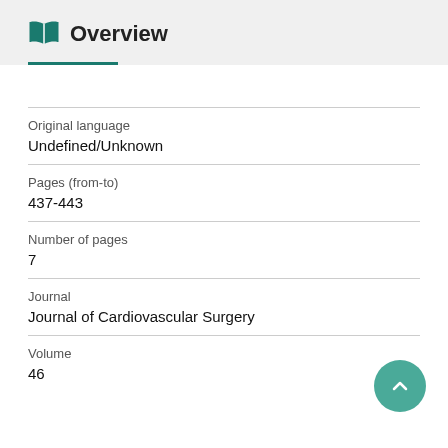Overview
Original language
Undefined/Unknown
Pages (from-to)
437-443
Number of pages
7
Journal
Journal of Cardiovascular Surgery
Volume
46